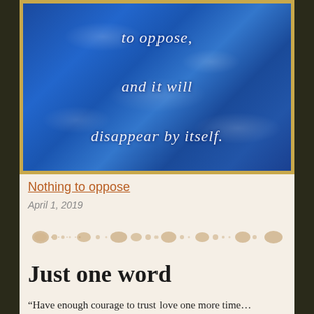[Figure (illustration): Blue water ripple background with white italic script text reading 'to oppose, and it will disappear by itself.' in elegant calligraphy. Framed with a gold and dark border.]
Nothing to oppose
April 1, 2019
[Figure (illustration): Decorative horizontal divider with shell and dot motifs in a beige/tan color.]
Just one word
“Have enough courage to trust love one more time…